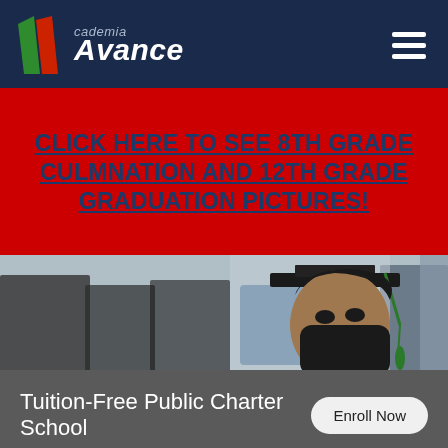[Figure (logo): Academia Avance charter school logo with colored diagonal stripes (green, red) and bold italic white text on dark navy background header, with hamburger menu icon on the right]
CLICK HERE TO SEE 8TH GRADE CULMNATION AND 12TH GRADE GRADUATION PICTURES!
[Figure (photo): Photograph of graduating students in black caps and gowns, with one student prominently featured wearing a black face mask and green tassel on her graduation cap]
Tuition-Free Public Charter School
Enroll Now